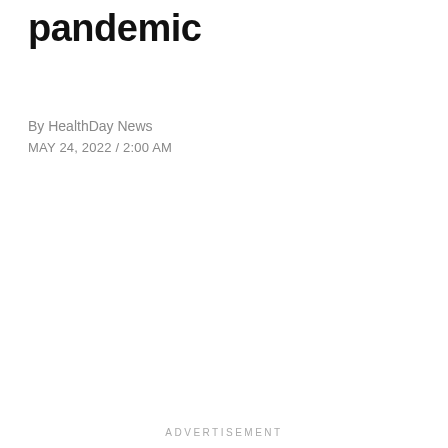pandemic
By HealthDay News
MAY 24, 2022 / 2:00 AM
ADVERTISEMENT